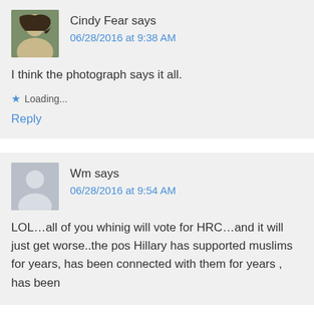Cindy Fear says
06/28/2016 at 9:38 AM
I think the photograph says it all.
★ Loading...
Reply
Wm says
06/28/2016 at 9:54 AM
LOL…all of you whinig will vote for HRC…and it will just get worse..the pos Hillary has supported muslims for years, has been connected with them for years , has been